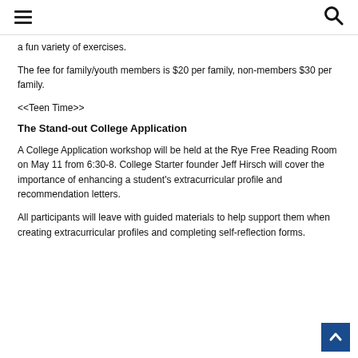[hamburger menu] [search icon]
a fun variety of exercises.
The fee for family/youth members is $20 per family, non-members $30 per family.
<<Teen Time>>
The Stand-out College Application
A College Application workshop will be held at the Rye Free Reading Room on May 11 from 6:30-8. College Starter founder Jeff Hirsch will cover the importance of enhancing a student's extracurricular profile and recommendation letters.
All participants will leave with guided materials to help support them when creating extracurricular profiles and completing self-reflection forms.